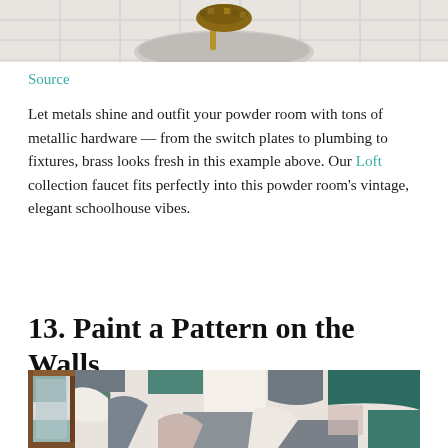[Figure (photo): Top portion of a bathroom photo showing a sink with metallic brass hardware and white tile background, cropped at top of page]
Source
Let metals shine and outfit your powder room with tons of metallic hardware — from the switch plates to plumbing to fixtures, brass looks fresh in this example above. Our Loft collection faucet fits perfectly into this powder room's vintage, elegant schoolhouse vibes.
13. Paint a Pattern on the Walls
[Figure (photo): Photo of a powder room wall painted with an abstract geometric pattern in shades of teal, green, gray, white, and mauve, with a wooden framed mirror visible on the left side]